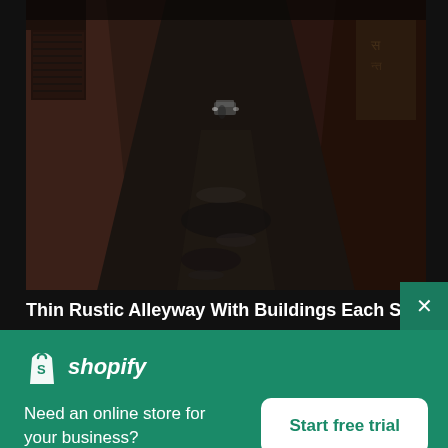[Figure (photo): A narrow rustic alleyway with buildings on each side, dark moody lighting, wet pavement, a car visible in the distance. Urban street scene from India.]
Thin Rustic Alleyway With Buildings Each Side
[Figure (logo): Shopify logo — shopping bag icon with letter S, followed by italic text 'shopify' in white on green background]
Need an online store for your business?
Start free trial